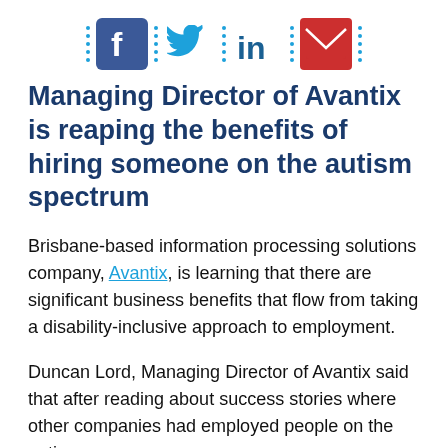[Figure (infographic): Social media sharing icons: Facebook (blue square with 'f'), Twitter (blue bird), LinkedIn ('in'), Email (red envelope), separated by dotted vertical dividers]
Managing Director of Avantix is reaping the benefits of hiring someone on the autism spectrum
Brisbane-based information processing solutions company, Avantix, is learning that there are significant business benefits that flow from taking a disability-inclusive approach to employment.
Duncan Lord, Managing Director of Avantix said that after reading about success stories where other companies had employed people on the autism